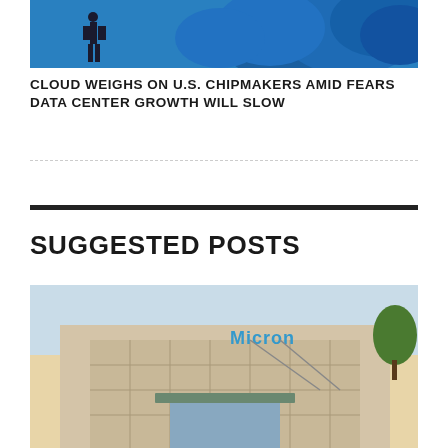[Figure (photo): A silhouette of a person standing in front of a blue cloud shape on a blue background, representing cloud computing concept]
CLOUD WEIGHS ON U.S. CHIPMAKERS AMID FEARS DATA CENTER GROWTH WILL SLOW
SUGGESTED POSTS
[Figure (photo): Exterior photo of a Micron Technology building with the Micron logo visible on the facade, modern office building with glass windows]